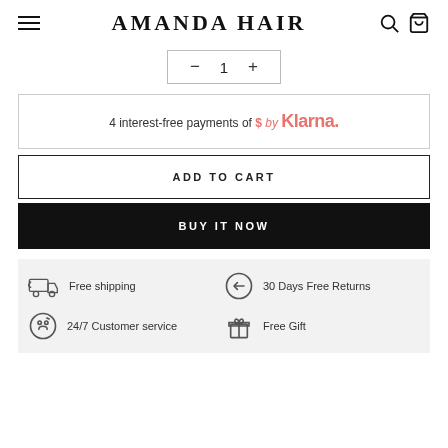AMANDA HAIR
- 1 +
4 interest-free payments of $ by Klarna.
ADD TO CART
BUY IT NOW
Free shipping | 30 Days Free Returns | 24/7 Customer service | Free Gift